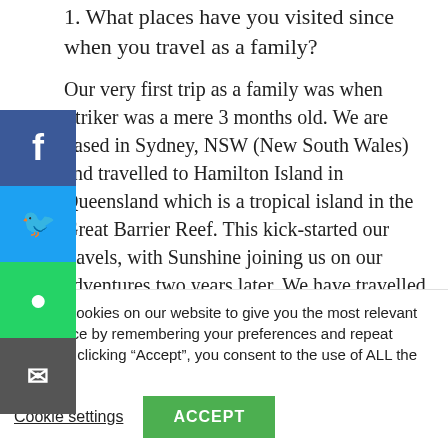1. What places have you visited since when you travel as a family?
Our very first trip as a family was when Striker was a mere 3 months old. We are based in Sydney, NSW (New South Wales) and travelled to Hamilton Island in Queensland which is a tropical island in the Great Barrier Reef. This kick-started our travels, with Sunshine joining us on our adventures two years later. We have travelled across each state of Australia, as well as exploring parts of North America, Japan, New
We use cookies on our website to give you the most relevant experience by remembering your preferences and repeat visits. By clicking “Accept”, you consent to the use of ALL the cookies.
Cookie settings
ACCEPT